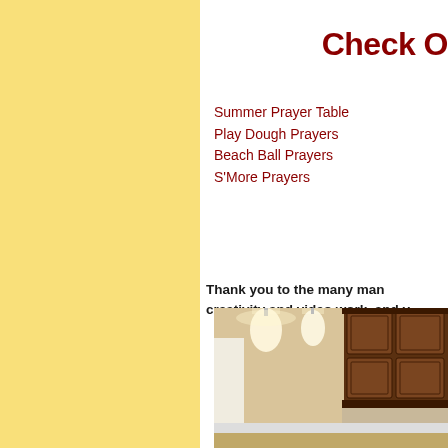Check O
Summer Prayer Table
Play Dough Prayers
Beach Ball Prayers
S'More Prayers
Thank you to the many man creativity and video work, and y
[Figure (photo): Interior kitchen photo showing pendant lights, dark wood upper cabinets, and white trim]